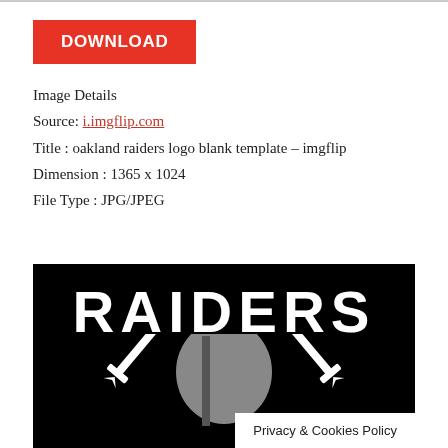[Figure (other): Red DOWNLOAD button]
Image Details
Source: i.imgflip.com
Title : oakland raiders logo blank template – imgflip
Dimension : 1365 x 1024
File Type : JPG/JPEG
[Figure (logo): Oakland Raiders logo on black background with RAIDERS text and pirate helmet with crossed swords graphic]
Privacy & Cookies Policy